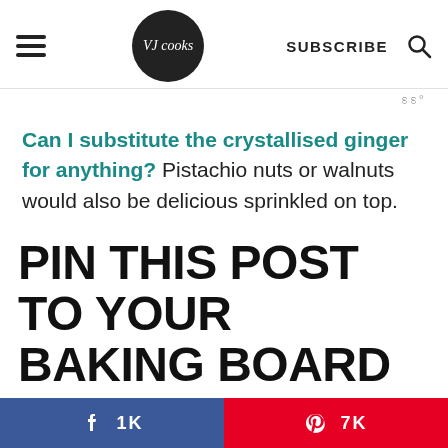VJ Cooks — SUBSCRIBE [search icon]
Can I substitute the crystallised ginger for anything? Pistachio nuts or walnuts would also be delicious sprinkled on top.
PIN THIS POST TO YOUR BAKING BOARD ON PINTEREST AND SAVE IT FOR LATER
[Figure (other): Social share bar with Facebook (1K) and Pinterest (7K) buttons]